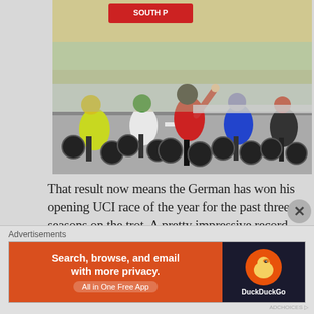[Figure (photo): Cycling race finish line sprint with multiple riders, winner in red kit raising arm in victory, surrounded by competitors in yellow, white, blue, and black kits, crowd visible in background]
That result now means the German has won his opening UCI race of the year for the past three seasons on the trot. A pretty impressive record that!
Ewan managed to hold on for second, while a fast finishing Sagan took third. Will they all be up there
Advertisements
[Figure (infographic): DuckDuckGo advertisement banner: orange/red left side with text 'Search, browse, and email with more privacy. All in One Free App', dark right side with DuckDuckGo duck logo and brand name]